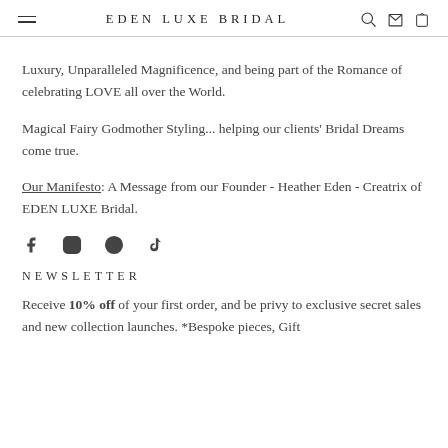EDEN LUXE BRIDAL
Luxury, Unparalleled Magnificence, and being part of the Romance of celebrating LOVE all over the World.
Magical Fairy Godmother Styling... helping our clients' Bridal Dreams come true.
Our Manifesto: A Message from our Founder - Heather Eden - Creatrix of EDEN LUXE Bridal.
[Figure (other): Social media icons: Facebook, Instagram, Pinterest, TikTok]
NEWSLETTER
Receive 10% off of your first order, and be privy to exclusive secret sales and new collection launches. *Bespoke pieces, Gift